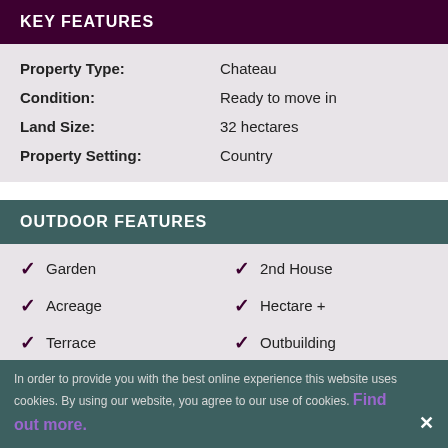KEY FEATURES
| Property | Value |
| --- | --- |
| Property Type: | Chateau |
| Condition: | Ready to move in |
| Land Size: | 32 hectares |
| Property Setting: | Country |
OUTDOOR FEATURES
Garden
2nd House
Acreage
Hectare +
Terrace
Outbuilding
Outbuilding + Others
Garage
In order to provide you with the best online experience this website uses cookies. By using our website, you agree to our use of cookies. Find out more.